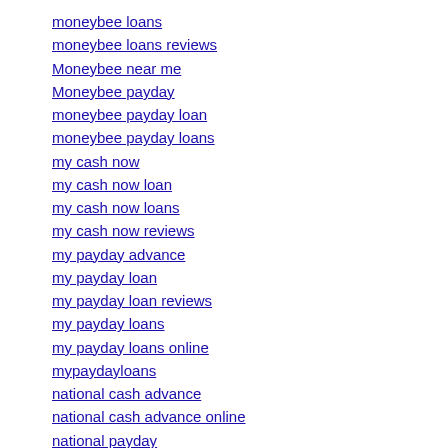moneybee loans
moneybee loans reviews
Moneybee near me
Moneybee payday
moneybee payday loan
moneybee payday loans
my cash now
my cash now loan
my cash now loans
my cash now reviews
my payday advance
my payday loan
my payday loan reviews
my payday loans
my payday loans online
mypaydayloans
national cash advance
national cash advance online
national payday